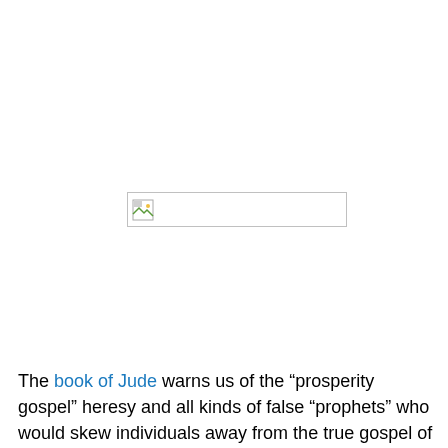[Figure (other): Broken/missing image placeholder with small broken image icon on the left inside a rectangular border]
The book of Jude warns us of the “prosperity gospel” heresy and all kinds of false “prophets” who would skew individuals away from the true gospel of Jesus Christ!